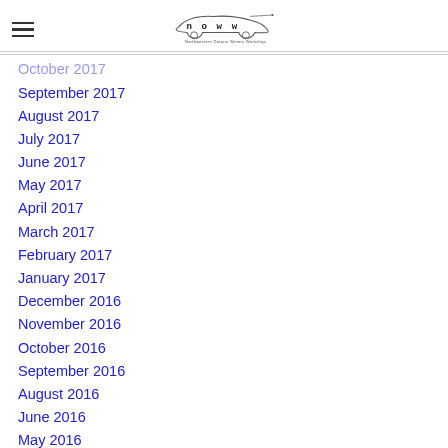NOWW – Northwestern Ontario Writers Workshop
October 2017 (partial)
September 2017
August 2017
July 2017
June 2017
May 2017
April 2017
March 2017
February 2017
January 2017
December 2016
November 2016
October 2016
September 2016
August 2016
June 2016
May 2016
April 2016